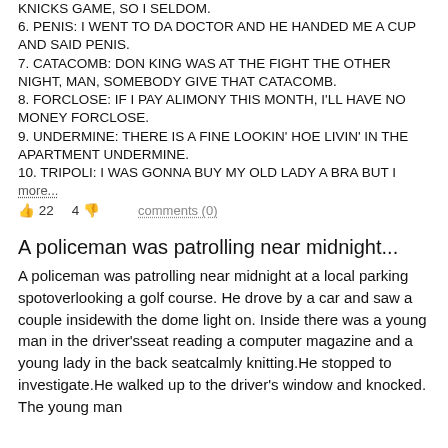KNICKS GAME, SO I SELDOM.
6. PENIS: I WENT TO DA DOCTOR AND HE HANDED ME A CUP AND SAID PENIS.
7. CATACOMB: DON KING WAS AT THE FIGHT THE OTHER NIGHT, MAN, SOMEBODY GIVE THAT CATACOMB.
8. FORCLOSE: IF I PAY ALIMONY THIS MONTH, I'LL HAVE NO MONEY FORCLOSE.
9. UNDERMINE: THERE IS A FINE LOOKIN' HOE LIVIN' IN THE APARTMENT UNDERMINE.
10. TRIPOLI: I WAS GONNA BUY MY OLD LADY A BRA BUT I
more...
👍 22    4 👎    comments (0)
A policeman was patrolling near midnight...
A policeman was patrolling near midnight at a local parking spotoverlooking a golf course. He drove by a car and saw a couple insidewith the dome light on. Inside there was a young man in the driver'sseat reading a computer magazine and a young lady in the back seatcalmly knitting.He stopped to investigate.He walked up to the driver's window and knocked. The young man